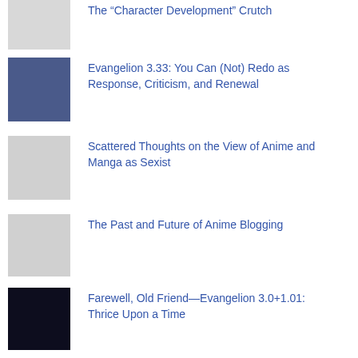The “Character Development” Crutch
Evangelion 3.33: You Can (Not) Redo as Response, Criticism, and Renewal
Scattered Thoughts on the View of Anime and Manga as Sexist
The Past and Future of Anime Blogging
Farewell, Old Friend—Evangelion 3.0+1.01: Thrice Upon a Time
Recent Posts
Kio Shimoku Twitter Highlights August 2022
Hololive TEMPUS, Nijisanji ILUNA, and Attractive Male Roster